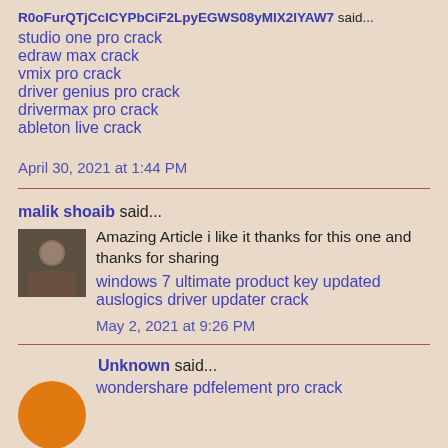R0oFurQTjCcICYPbCiF2LpyEGWS08yMIX2IYAW7 said...
studio one pro crack
edraw max crack
vmix pro crack
driver genius pro crack
drivermax pro crack
ableton live crack
April 30, 2021 at 1:44 PM
malik shoaib said...
Amazing Article i like it thanks for this one and thanks for sharing
windows 7 ultimate product key updated
auslogics driver updater crack
May 2, 2021 at 9:26 PM
Unknown said...
wondershare pdfelement pro crack